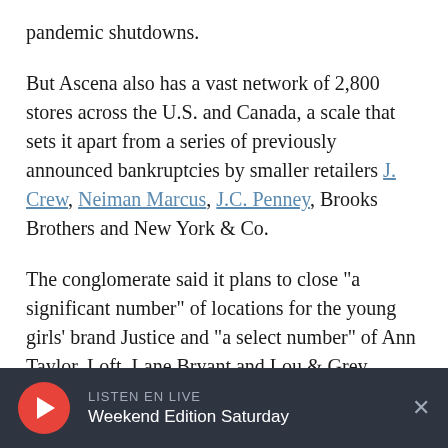pandemic shutdowns.
But Ascena also has a vast network of 2,800 stores across the U.S. and Canada, a scale that sets it apart from a series of previously announced bankruptcies by smaller retailers J. Crew, Neiman Marcus, J.C. Penney, Brooks Brothers and New York & Co.
The conglomerate said it plans to close "a significant number" of locations for the young girls' brand Justice and "a select number" of Ann Taylor, Loft, Lane Bryant and Lou & Grey stores. It will close all Catherines stores and all locations
LISTEN EN LIVE
Weekend Edition Saturday